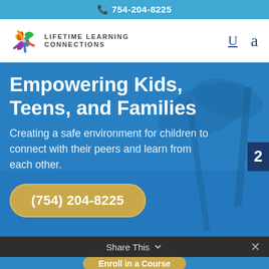📞 754-204-8225
[Figure (logo): Lifetime Learning Connections logo with colorful pinwheel-style figures]
LIFETIME LEARNING CONNECTIONS
Empowering Kids, Teens, and Families
Creating a safe environment for children to connect with their peers and learn from each other.
(754) 204-8225
Share This
Enroll in a Course